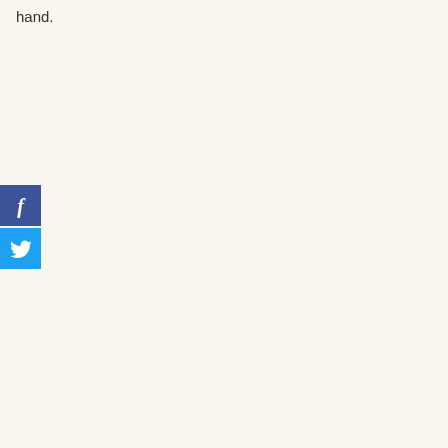hand.
[Figure (logo): Facebook share button - dark blue square with white italic letter f]
[Figure (logo): Twitter share button - light blue square with white Twitter bird icon]